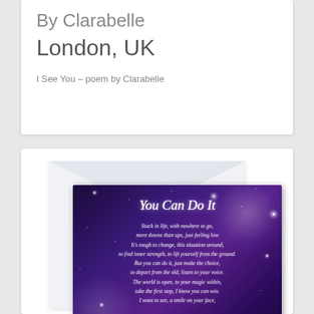By Clarabelle
London, UK
I See You – poem by Clarabelle
[Figure (illustration): A greeting card with a purple starry night sky background showing the poem 'You Can Do It' by Clarabelle, with an envelope behind it]